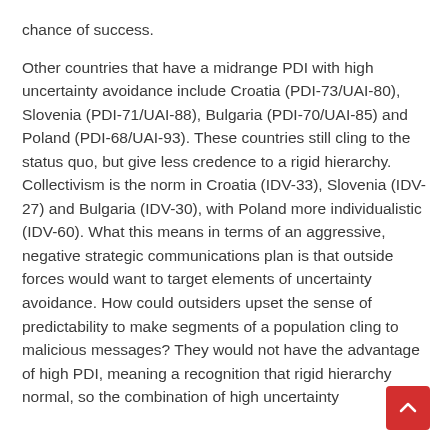chance of success.
Other countries that have a midrange PDI with high uncertainty avoidance include Croatia (PDI-73/UAI-80), Slovenia (PDI-71/UAI-88), Bulgaria (PDI-70/UAI-85) and Poland (PDI-68/UAI-93). These countries still cling to the status quo, but give less credence to a rigid hierarchy. Collectivism is the norm in Croatia (IDV-33), Slovenia (IDV-27) and Bulgaria (IDV-30), with Poland more individualistic (IDV-60). What this means in terms of an aggressive, negative strategic communications plan is that outside forces would want to target elements of uncertainty avoidance. How could outsiders upset the sense of predictability to make segments of a population cling to malicious messages? They would not have the advantage of high PDI, meaning a recognition that rigid hierarchy normal, so the combination of high uncertainty